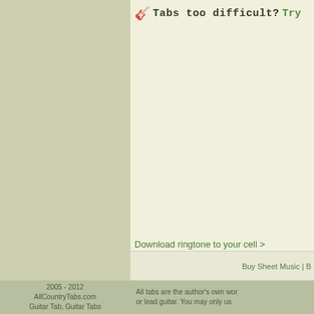🎸 Tabs too difficult? Try
Download ringtone to your cell >
Buy Sheet Music | B
2005 - 2012
AllCountryTabs.com
Guitar Tab, Guitar Tabs
All tabs are the author's own wor or lead guitar. You may only us